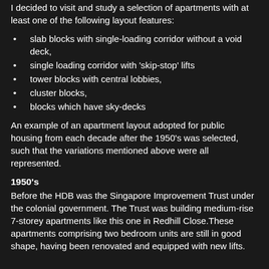I decided to visit and study a selection of apartments with at least one of the following layout features:
slab blocks with single-loading corridor without a void deck,
single loading corridor with 'skip-stop' lifts
tower blocks with central lobbies,
cluster blocks,
blocks which have sky-decks
An example of an apartment layout adopted for public housing from each decade after the 1950's was selected, such that the variations mentioned above were all represented.
1950's
Before the HDB was the Singapore Improvement Trust under the colonial government. The Trust was building medium-rise 7-storey apartments like this one in Redhill Close.These apartments comprising two bedroom units are still in good shape, having been renovated and equipped with new lifts.